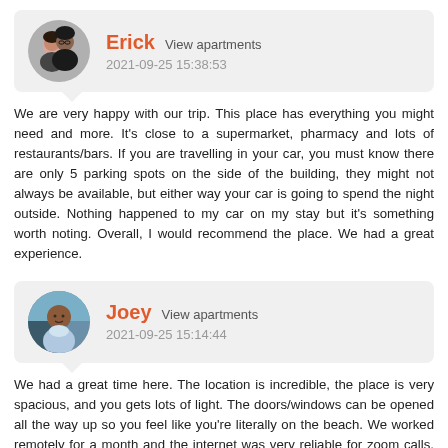[Figure (photo): Circular avatar photo of Erick, a couple (man and woman)]
Erick  View apartments
2021-09-25 15:38:53
We are very happy with our trip. This place has everything you might need and more. It's close to a supermarket, pharmacy and lots of restaurants/bars. If you are travelling in your car, you must know there are only 5 parking spots on the side of the building, they might not always be available, but either way your car is going to spend the night outside. Nothing happened to my car on my stay but it's something worth noting. Overall, I would recommend the place. We had a great experience.
[Figure (photo): Circular avatar photo of Joey, a man smiling]
Joey  View apartments
2021-09-25 15:14:44
We had a great time here. The location is incredible, the place is very spacious, and you gets lots of light. The doors/windows can be opened all the way up so you feel like you're literally on the beach. We worked remotely for a month and the internet was very reliable for zoom calls, etc. The kitchen is equipped for most of what you